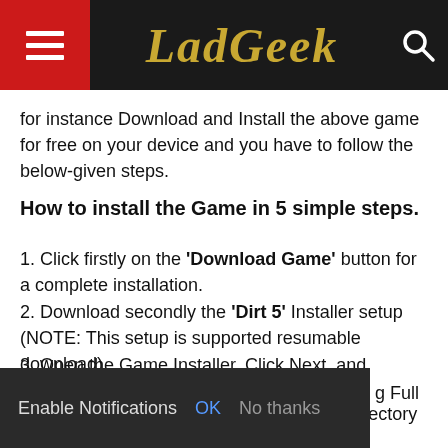LadGeek
for instance Download and Install the above game for free on your device and you have to follow the below-given steps.
How to install the Game in 5 simple steps.
1. Click firstly on the ‘Download Game’ button for a complete installation.
2. Download secondly the ‘Dirt 5’ Installer setup (NOTE: This setup is supported resumable download).
3. Open the Game Installer, Click Next, and choose the directory where to Install.
4. Let it Download Game in the specified directory of your Device.
5. [partially visible] ...g Full Version Game.